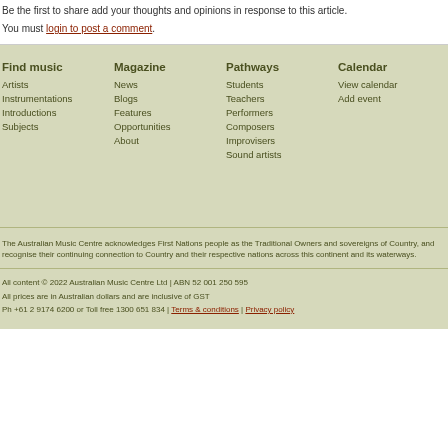Be the first to share add your thoughts and opinions in response to this article.
You must login to post a comment.
Find music
Artists
Instrumentations
Introductions
Subjects
Magazine
News
Blogs
Features
Opportunities
About
Pathways
Students
Teachers
Performers
Composers
Improvisers
Sound artists
Calendar
View calendar
Add event
The Australian Music Centre acknowledges First Nations people as the Traditional Owners and sovereigns of Country, and recognise their continuing connection to Country and their respective nations across this continent and its waterways.
All content © 2022 Australian Music Centre Ltd | ABN 52 001 250 595
All prices are in Australian dollars and are inclusive of GST
Ph +61 2 9174 6200 or Toll free 1300 651 834 | Terms & conditions | Privacy policy